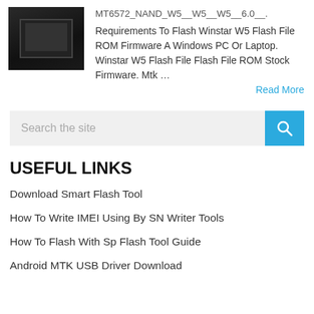[Figure (photo): Thumbnail image of a dark electronics device (likely a phone or TV unit) shown against black background]
MT6572_NAND_W5__W5__W5__6.0__. Requirements To Flash Winstar W5 Flash File ROM Firmware A Windows PC Or Laptop. Winstar W5 Flash File Flash File ROM Stock Firmware. Mtk …
Read More
[Figure (screenshot): Search box with placeholder text 'Search the site' and a blue search button with magnifying glass icon]
USEFUL LINKS
Download Smart Flash Tool
How To Write IMEI Using By SN Writer Tools
How To Flash With Sp Flash Tool Guide
Android MTK USB Driver Download